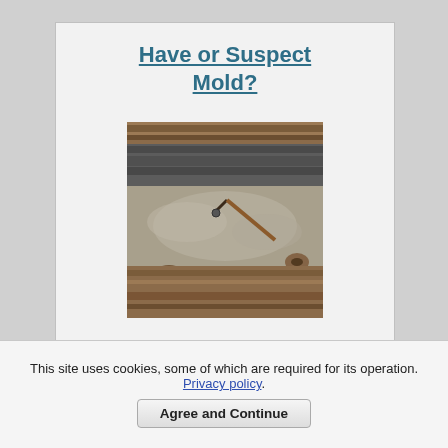Have or Suspect Mold?
[Figure (photo): Close-up photo of weathered wooden boards with mold/mildew growth — grayish-white furry growth visible on the wood surface, with a nail visible in the center]
Step-By-Step Guide to
This site uses cookies, some of which are required for its operation. Privacy policy.
Agree and Continue